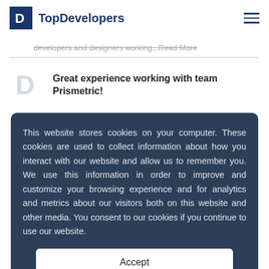TopDevelopers
developers and designers working...Read More
Great experience working with team Prismetric!
This website stores cookies on your computer. These cookies are used to collect information about how you interact with our website and allow us to remember you. We use this information in order to improve and customize your browsing experience and for analytics and metrics about our visitors both on this website and other media. You consent to our cookies if you continue to use our website.
Accept